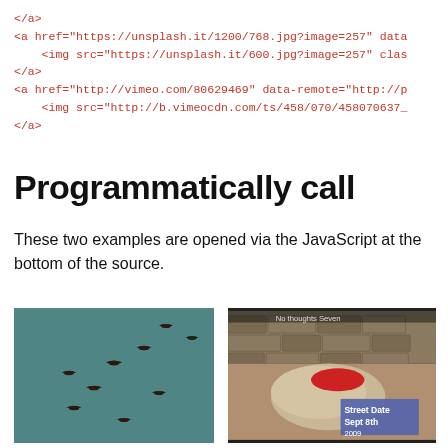</a>
<a href="https://unsplash.it/1200/768.jpg?image=257" data
     <img src="https://unsplash.it/600.jpg?image=257" clas
</a>
<a href="http://vimeo.com/80629469" data-remote="http://p
     <img src="http://b.vimeocdn.com/ts/458/070/458070637_
</a>
Programmatically call
These two examples are opened via the JavaScript at the bottom of the source.
[Figure (photo): Photo of birds flying in a teal/blue-grey sky]
[Figure (screenshot): Video thumbnail showing a large rock, stone wall, and a 'Street Date Sept 8th' sign overlay]